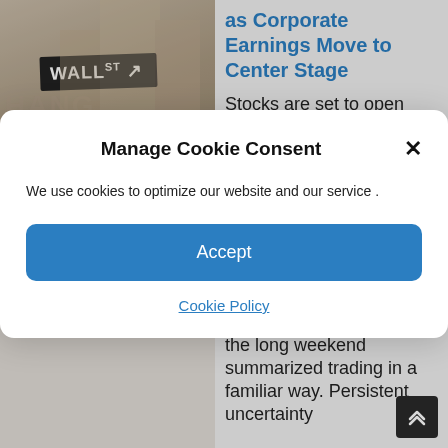[Figure (photo): Wall Street sign photo with person and building facade visible]
as Corporate Earnings Move to Center Stage
Stocks are set to open
Manage Cookie Consent
We use cookies to optimize our website and our service .
Accept
Cookie Policy
European markets after the long weekend summarized trading in a familiar way. Persistent uncertainty